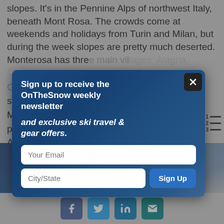slopes. It's in the Pennine Alps of northwest Italy, beneath Mont Rosa. The crowds come at weekends and holidays from Turin and Milan, but during the week slopes are pretty much deserted. Monterosa has thre... Gresson... s three separate... netres. Much o... t's perfect... on. Alagna... Champ... families...
[Figure (screenshot): Modal newsletter signup popup with dark blue tinted ski/snowboard photo background. Shows 'Sign up to receive the OnTheSnow weekly newsletter and exclusive ski travel & gear offers.' with email and City/State fields and Sign Up button. Close button (X) top right.]
[Figure (photo): Bottom portion of a ski slope action photo showing skier in powder, dark blue tones on left fading to grey on right.]
[Figure (infographic): Social share buttons row: Facebook (blue), Twitter (light blue), LinkedIn (blue), Email (teal)]